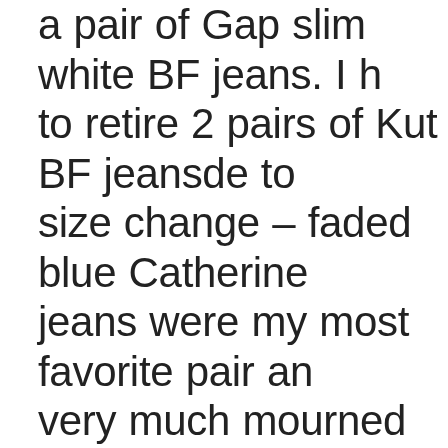a pair of Gap slim white BF jeans. I h to retire 2 pairs of Kut BF jeansde to size change – faded blue Catherine jeans were my most favorite pair an very much mourned when I had to goodbuy to them! I really like Kut je – too bad they skimp on the length them so anything but BF jeans is to short for me 😕 Even with my shart experience with